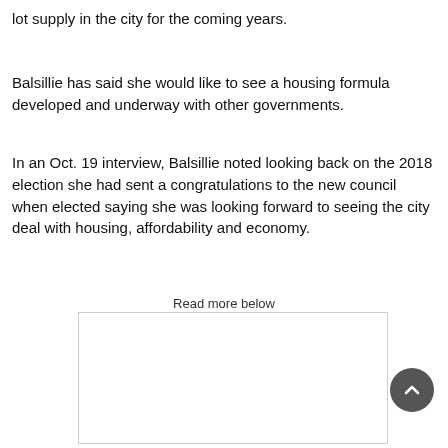lot supply in the city for the coming years.
Balsillie has said she would like to see a housing formula developed and underway with other governments.
In an Oct. 19 interview, Balsillie noted looking back on the 2018 election she had sent a congratulations to the new council when elected saying she was looking forward to seeing the city deal with housing, affordability and economy.
Read more below
[Figure (other): Advertisement placeholder box]